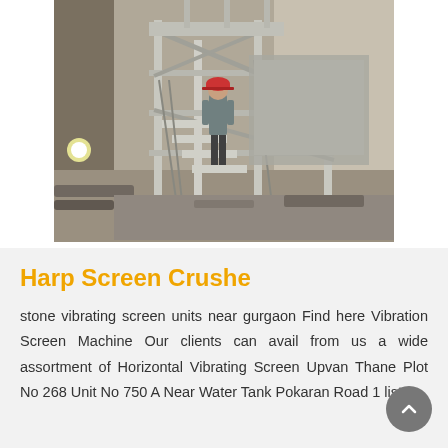[Figure (photo): Industrial photo showing a worker in a red hard hat standing on a large metal scaffolding/stairway structure inside an industrial facility. The structure appears to be a vibrating screen or crusher machine with metal stairs and frames. The background shows concrete walls of an industrial building.]
Harp Screen Crushe
stone vibrating screen units near gurgaon Find here Vibration Screen Machine Our clients can avail from us a wide assortment of Horizontal Vibrating Screen Upvan Thane Plot No 268 Unit No 750 A Near Water Tank Pokaran Road 1 list of our products in the collection below and